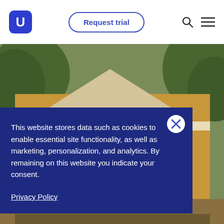[Figure (logo): Updater U logo in blue speech bubble style icon]
Request trial
[Figure (photo): Yellow house with white trim porch and a person standing near the front door, green trees in background]
This website stores data such as cookies to enable essential site functionality, as well as marketing, personalization, and analytics. By remaining on this website you indicate your consent.
Privacy Policy